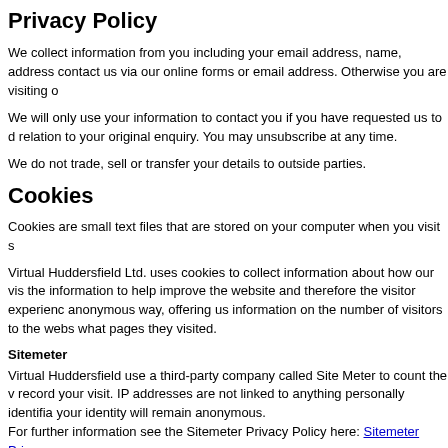Privacy Policy
We collect information from you including your email address, name, address contact us via our online forms or email address. Otherwise you are visiting o
We will only use your information to contact you if you have requested us to d relation to your original enquiry. You may unsubscribe at any time.
We do not trade, sell or transfer your details to outside parties.
Cookies
Cookies are small text files that are stored on your computer when you visit s
Virtual Huddersfield Ltd. uses cookies to collect information about how our vis the information to help improve the website and therefore the visitor experienc anonymous way, offering us information on the number of visitors to the webs what pages they visited.
Sitemeter
Virtual Huddersfield use a third-party company called Site Meter to count the v record your visit. IP addresses are not linked to anything personally identifia your identity will remain anonymous.
For further information see the Sitemeter Privacy Policy here: Sitemeter Priva
Website widgets